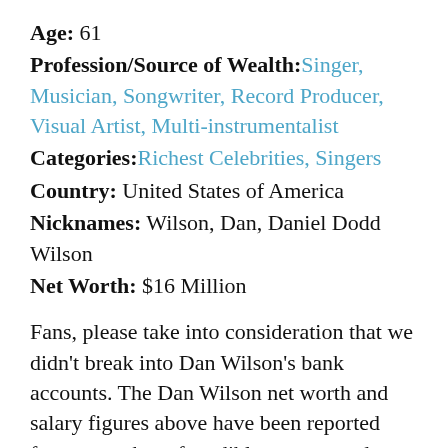Age: 61
Profession/Source of Wealth: Singer, Musician, Songwriter, Record Producer, Visual Artist, Multi-instrumentalist
Categories: Richest Celebrities, Singers
Country: United States of America
Nicknames: Wilson, Dan, Daniel Dodd Wilson
Net Worth: $16 Million
Fans, please take into consideration that we didn't break into Dan Wilson's bank accounts. The Dan Wilson net worth and salary figures above have been reported from a number of credible sources and